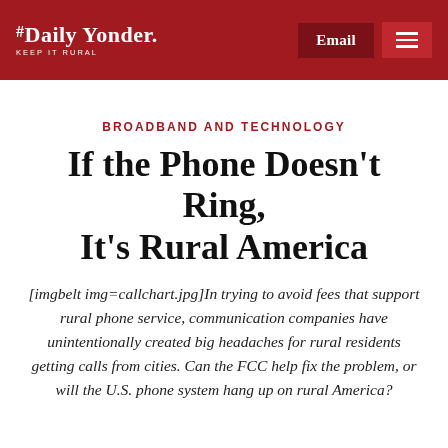THE DAILY YONDER. KEEP IT RURAL | Email
BROADBAND AND TECHNOLOGY
If the Phone Doesn't Ring, It's Rural America
[imgbelt img=callchart.jpg]In trying to avoid fees that support rural phone service, communication companies have unintentionally created big headaches for rural residents getting calls from cities. Can the FCC help fix the problem, or will the U.S. phone system hang up on rural America?